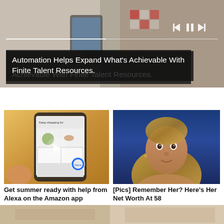[Figure (screenshot): Video banner showing two people working with tablets, with playback controls (skip back, pause, skip forward) in top right]
Automation Helps Expand What's Achievable With Finite Talent Resources.
[Figure (screenshot): Thumbnail of Amazon Alexa app on phone showing shopping recommendations with a video play button overlay]
Get summer ready with help from Alexa on the Amazon app
Amazon Alexa
[Figure (photo): Portrait photo of a woman with long blonde hair against a blue background]
[Pics] Remember Her? Here's Her Net Worth At 58
Travel Black Boards
[Figure (photo): Partial bottom strip showing another article image]